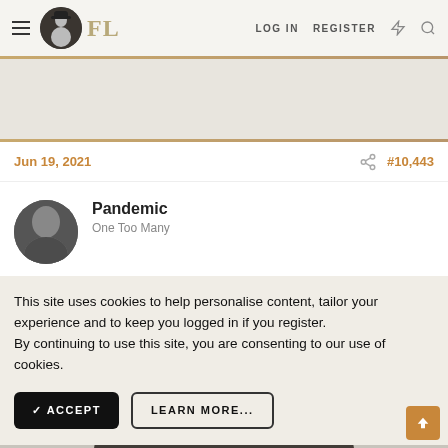FL — LOG IN  REGISTER
Jun 19, 2021
#10,443
Pandemic
One Too Many
This site uses cookies to help personalise content, tailor your experience and to keep you logged in if you register.
By continuing to use this site, you are consenting to our use of cookies.
✓ ACCEPT
LEARN MORE...
[Figure (photo): Person wearing a black leather jacket, partially visible in the lower portion of the page]